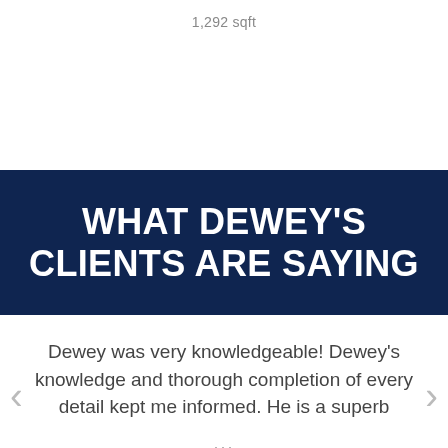1,292 sqft
WHAT DEWEY'S CLIENTS ARE SAYING
Dewey was very knowledgeable! Dewey's knowledge and thorough completion of every detail kept me informed. He is a superb
...